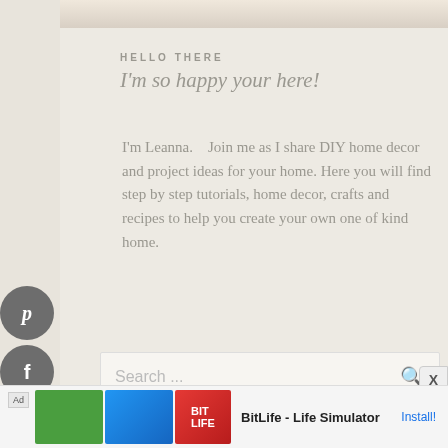[Figure (photo): Partial photo visible at top of page, appears to be a person or face, cropped]
HELLO THERE
I'm so happy your here!
I'm Leanna.    Join me as I share DIY home decor and project ideas for your home. Here you will find step by step tutorials, home decor, crafts and recipes to help you create your own one of kind home.
[Figure (infographic): Social media icon buttons: Pinterest (p), Facebook (f), Mix (m), Twitter (t) — dark grey circles on left side]
Search ...
[Figure (screenshot): Ad banner at bottom: BitLife - Life Simulator app advertisement with Install button]